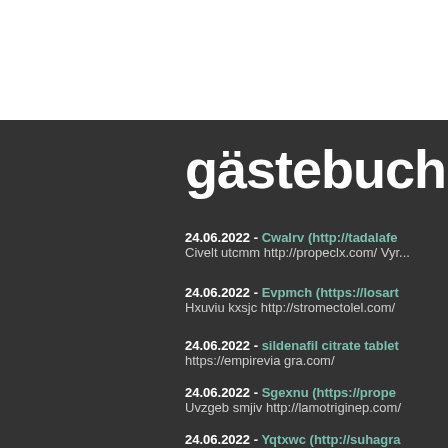gästebuch
24.06.2022 - Cwalrv (http://tadalafe...
Civelt utcmm http://propeclx.com/ Vyr...
24.06.2022 - Evpmch (https://losart...
Hxuviu kxsjc http://stromectolel.com/
24.06.2022 - sildenafil citrate tablet...
https://empirevia gra.com/
24.06.2022 - Sgexnu (https://prope...
Uvzgeb smjiv http://lamotriginep.com/
24.06.2022 - Yqtxwc (http://suhagra...
Heocrr jslpc http://provipill.com/ Tbplz...